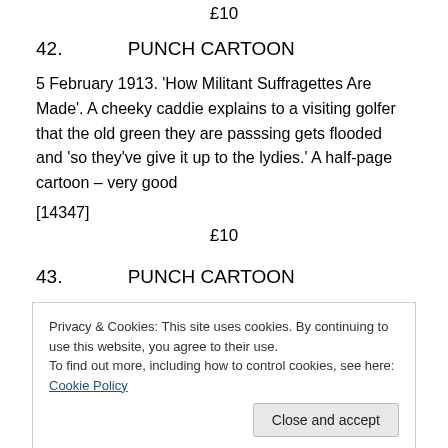£10
42.        PUNCH CARTOON
5 February 1913. 'How Militant Suffragettes Are Made'. A cheeky caddie explains to a visiting golfer that the old green they are passsing gets flooded and 'so they've give it up to the lydies.' A half-page cartoon – very good
[14347]
£10
43.        PUNCH CARTOON
Privacy & Cookies: This site uses cookies. By continuing to use this website, you agree to their use.
To find out more, including how to control cookies, see here: Cookie Policy
'Pro' armband) jitterbugs with Sir Edward. The sub text is